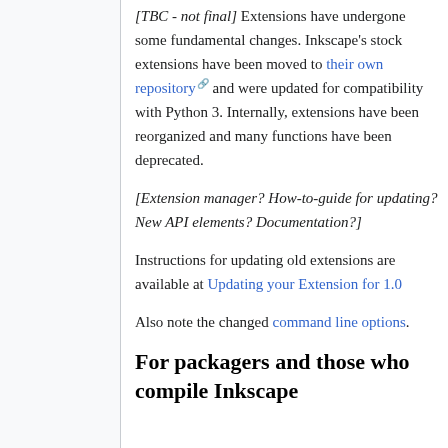[TBC - not final] Extensions have undergone some fundamental changes. Inkscape's stock extensions have been moved to their own repository and were updated for compatibility with Python 3. Internally, extensions have been reorganized and many functions have been deprecated.
[Extension manager? How-to-guide for updating? New API elements? Documentation?]
Instructions for updating old extensions are available at Updating your Extension for 1.0
Also note the changed command line options.
For packagers and those who compile Inkscape